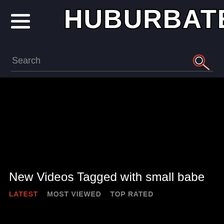HUBURBATE
Search
New Videos Tagged with small babe
LATEST   MOST VIEWED   TOP RATED